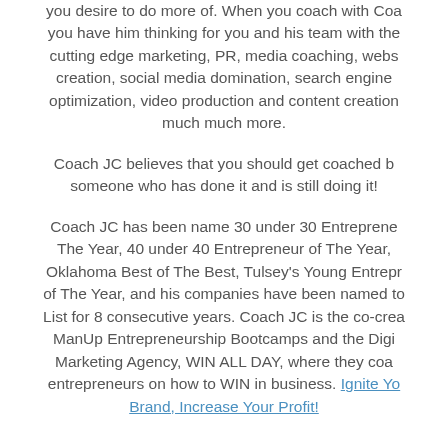you desire to do more of. When you coach with Coach JC, you have him thinking for you and his team with the cutting edge marketing, PR, media coaching, website creation, social media domination, search engine optimization, video production and content creation much much more.
Coach JC believes that you should get coached by someone who has done it and is still doing it!
Coach JC has been name 30 under 30 Entrepreneur of The Year, 40 under 40 Entrepreneur of The Year, Oklahoma Best of The Best, Tulsey's Young Entrepreneur of The Year, and his companies have been named to the List for 8 consecutive years. Coach JC is the co-creator of ManUp Entrepreneurship Bootcamps and the Digital Marketing Agency, WIN ALL DAY, where they coach entrepreneurs on how to WIN in business. Ignite Your Brand, Increase Your Profit!